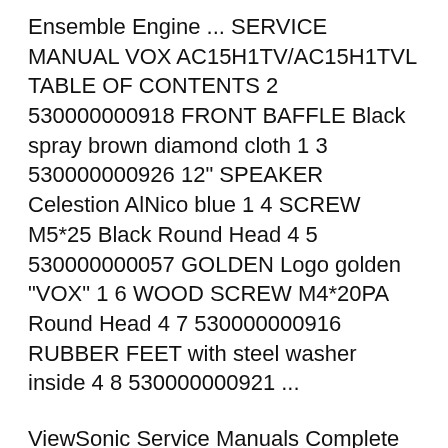Ensemble Engine ... SERVICE MANUAL VOX AC15H1TV/AC15H1TVL TABLE OF CONTENTS 2 530000000918 FRONT BAFFLE Black spray brown diamond cloth 1 3 530000000926 12" SPEAKER Celestion AlNico blue 1 4 SCREW M5*25 Black Round Head 4 5 530000000057 GOLDEN Logo golden "VOX" 1 6 WOOD SCREW M4*20PA Round Head 4 7 530000000916 RUBBER FEET with steel washer inside 4 8 530000000921 ...
ViewSonic Service Manuals Complete Service-Repair-Manual, and it's in PDF format. It contains circuit diagrams ( schemas ) etc. We have proficiency in offering quality services in order to provide our customers most satisfactory